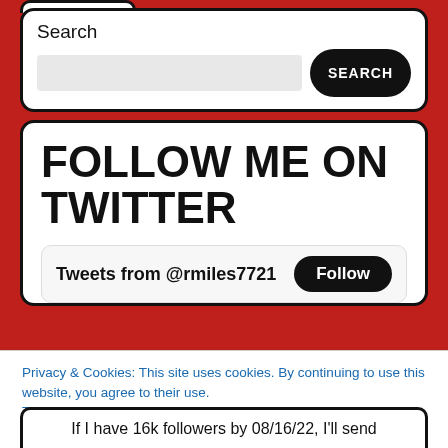[Figure (screenshot): Partial top widget cut off at top edge of page, white rounded rectangle partially visible]
Search
[Figure (screenshot): Search widget with label 'Search', a gray input field, and a black rounded 'SEARCH' button]
FOLLOW ME ON TWITTER
[Figure (screenshot): Twitter widget showing 'Tweets from @rmiles7721' with a black 'Follow' button]
Privacy & Cookies: This site uses cookies. By continuing to use this website, you agree to their use.
To find out more, including how to control cookies, see here:
Cookie Policy
Close and accept
If I have 16k followers by 08/16/22, I'll send